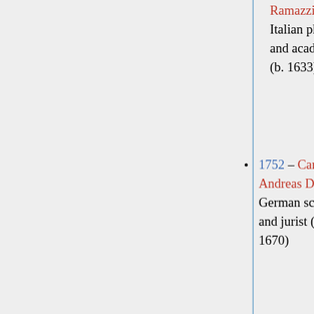Ramazzini, Italian physician and academic (b. 1633)
1752 – Carl Andreas Duker, German scholar and jurist (b. 1670)
1758 – Hans Egede, Norwegian-Danish bishop and missionary (b. 1686)
1872 – Thomas Sully, English-American painter (b. 1783)
1876 – Theodor